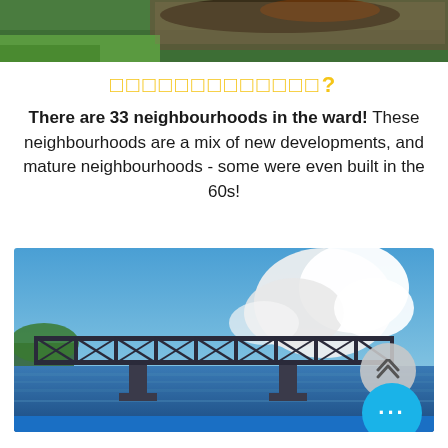[Figure (photo): Photo of a green grassy area with graffiti-painted wall and large orange hose or pipe, viewed from below]
□□□□□□□□□□□□□?
There are 33 neighbourhoods in the ward! These neighbourhoods are a mix of new developments, and mature neighbourhoods - some were even built in the 60s!
[Figure (photo): Photo of a large steel railway bridge over a blue river with dramatic white clouds in the background; a blue bar at the bottom; scroll-up and more-options buttons overlaid]